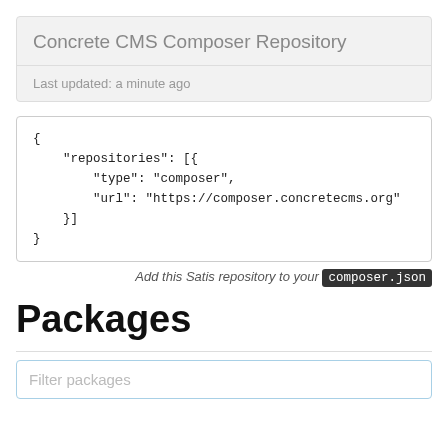Concrete CMS Composer Repository
Last updated: a minute ago
{
    "repositories": [{
        "type": "composer",
        "url": "https://composer.concretecms.org"
    }]
}
Add this Satis repository to your composer.json
Packages
Filter packages